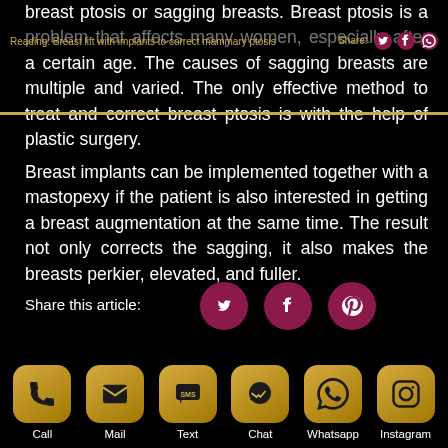Reading: Breast lift with implants to correct mammary ptosis | Share:
breast ptosis or sagging breasts. Breast ptosis is a problem that affects many women, especially after a certain age. The causes of sagging breasts are multiple and varied. The only effective method to treat and correct breast ptosis is with the help of plastic surgery.
Breast implants can be implemented together with a mastopexy if the patient is also interested in getting a breast augmentation at the same time. The result not only corrects the sagging, it also makes the breasts perkier, elevated, and fuller.
Share this article:
[Figure (infographic): Social share buttons: Twitter, Facebook, Pinterest (dark pink/maroon circles with white icons)]
[Figure (infographic): Contact action icons row: Call, Mail, Text, Chat, Whatsapp, Instagram — gold rounded square buttons with black icons and white labels below]